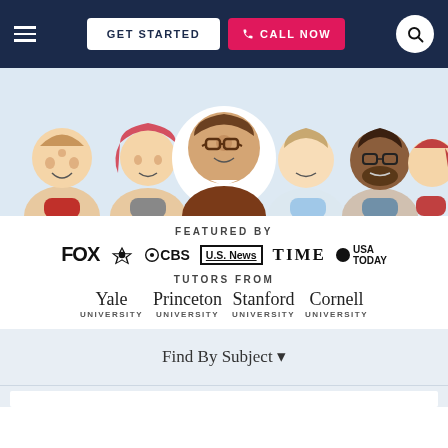[Figure (screenshot): Navigation bar with hamburger menu, GET STARTED button, CALL NOW button, and search icon on dark navy background]
[Figure (illustration): Row of cartoon avatar faces representing tutors; center avatar with glasses is highlighted in a white circle]
FEATURED BY
[Figure (logo): Media logos: FOX, NBC, CBS, U.S. News, TIME, USA TODAY]
TUTORS FROM
Yale UNIVERSITY  Princeton UNIVERSITY  Stanford UNIVERSITY  Cornell UNIVERSITY
Find By Subject ▼